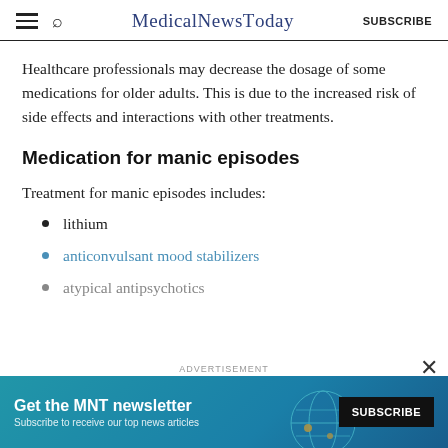MedicalNewsToday — SUBSCRIBE
Healthcare professionals may decrease the dosage of some medications for older adults. This is due to the increased risk of side effects and interactions with other treatments.
Medication for manic episodes
Treatment for manic episodes includes:
lithium
anticonvulsant mood stabilizers
atypical antipsychotics
[Figure (infographic): Advertisement banner: Get the MNT newsletter. Subscribe to receive our top news articles. SUBSCRIBE button on dark background with globe graphic.]